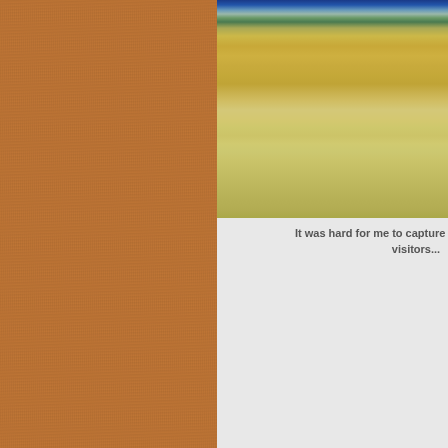[Figure (photo): Street-level photograph showing vehicles, planters, and a blue building in the background with a parking lot and road in the foreground]
It was hard for me to capture the magnitude of visitors...
day.
You can imagine what a boost it is fo... ours to have that many people comi... enterprising folks and small organizati... speak from personal knowledge wh... dozens of pies. They sold all 750 slice...
[Figure (photo): Outdoor photograph with trees and greenery, partially visible at bottom of page, with letter M visible to the right]